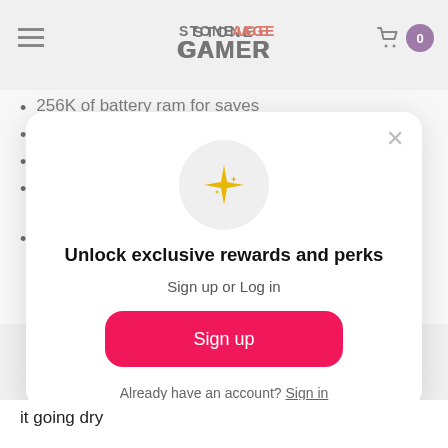Stone Age Gamer
256K of battery ram for saves
Real time clock for logging date and time of saves
High quality 6-layers PCB
ARM based 32bit I/O co-processor for SD and USB operations acceleration
Up to 1024 files per folder or unlimited if file sorting disabled
Unlock exclusive rewards and perks
Sign up or Log in
Sign up
Already have an account? Sign in
it going dry